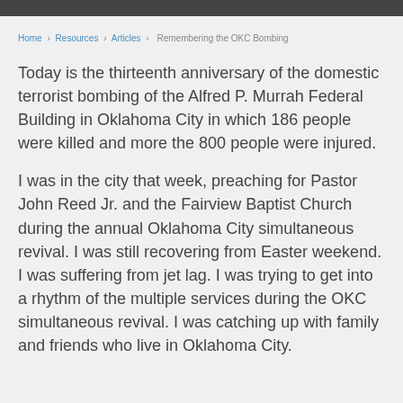Home › Resources › Articles › Remembering the OKC Bombing
Today is the thirteenth anniversary of the domestic terrorist bombing of the Alfred P. Murrah Federal Building in Oklahoma City in which 186 people were killed and more the 800 people were injured.
I was in the city that week, preaching for Pastor John Reed Jr. and the Fairview Baptist Church during the annual Oklahoma City simultaneous revival. I was still recovering from Easter weekend. I was suffering from jet lag. I was trying to get into a rhythm of the multiple services during the OKC simultaneous revival. I was catching up with family and friends who live in Oklahoma City.